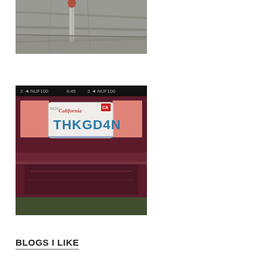[Figure (photo): Close-up photo of gray fabric/clothing with a drawstring visible]
[Figure (photo): Photo of a California license plate reading THKGD4N on a dark red/purple car, shown through what appears to be a phone screen interface]
BLOGS I LIKE
[Figure (other): Contact button and chat icon button in bottom right area]